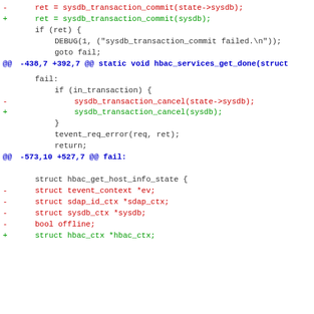Code diff showing changes to sysdb transaction commit and cancel calls, hbac_services_get_done struct, and hbac_get_host_info_state struct refactoring.